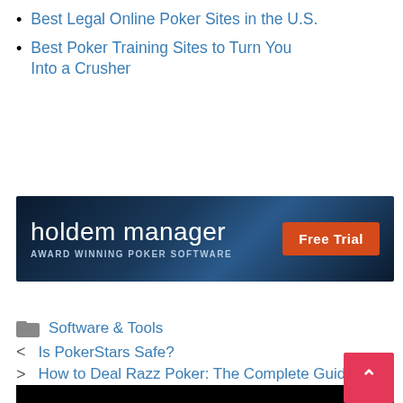Best Legal Online Poker Sites in the U.S.
Best Poker Training Sites to Turn You Into a Crusher
[Figure (screenshot): Holdem Manager banner ad with dark blue background, text 'holdem manager' in white large font, 'AWARD WINNING POKER SOFTWARE' in small caps, and an orange 'Free Trial' button on the right.]
Software & Tools
Is PokerStars Safe?
How to Deal Razz Poker: The Complete Guide
[Figure (screenshot): Black bar at the bottom of the page with a pink/red scroll-to-top button with an up arrow on the right side.]